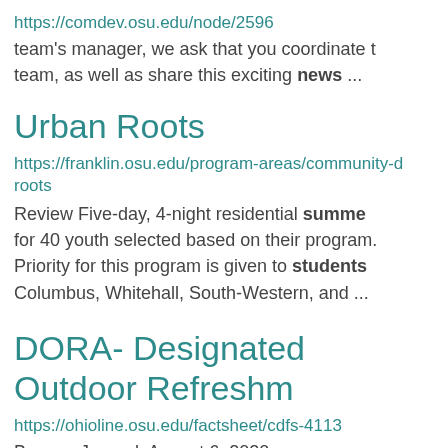https://comdev.osu.edu/node/2596
team's manager, we ask that you coordinate team, as well as share this exciting news ...
Urban Roots
https://franklin.osu.edu/program-areas/community-d roots
Review Five-day, 4-night residential summer for 40 youth selected based on their program. Priority for this program is given to students Columbus, Whitehall, South-Western, and ...
DORA- Designated Outdoor Refreshm
https://ohioline.osu.edu/factsheet/cdfs-4113
Beacon Journal, August 6, 2020.